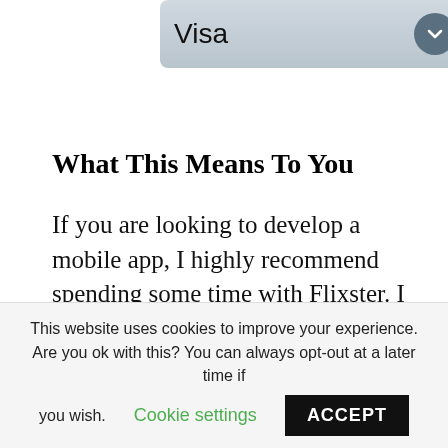[Figure (screenshot): Dropdown UI element showing 'Visa' with a blue-grey background and a circular arrow button on the right]
[Figure (screenshot): Partially visible input fields for 'Card Number' and 'Sec Code']
What This Means To You
If you are looking to develop a mobile app, I highly recommend spending some time with Flixster. I believe you’ll understand pretty quickly the power of the app, and how it potentially could be a model for your own mobile app (no matter what you focus on). As I explained
This website uses cookies to improve your experience. Are you ok with this? You can always opt-out at a later time if you wish.
Cookie settings
ACCEPT